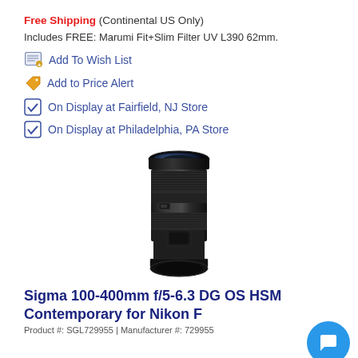Free Shipping (Continental US Only)
Includes FREE: Marumi Fit+Slim Filter UV L390 62mm.
Add To Wish List
Add to Price Alert
On Display at Fairfield, NJ Store
On Display at Philadelphia, PA Store
[Figure (photo): Sigma 100-400mm f/5-6.3 DG OS HSM Contemporary lens for Nikon F, shown vertically on white background]
Sigma 100-400mm f/5-6.3 DG OS HSM Contemporary for Nikon F
Product #: SGL729955 | Manufacturer #: 729955